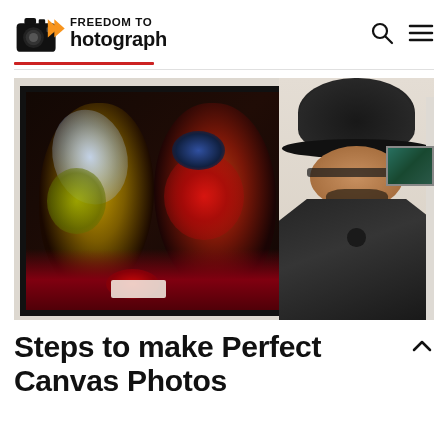FREEDOM TO Photograph
[Figure (photo): A man wearing a black wide-brim hat and leather jacket stands smiling next to a large framed artwork showing two abstract colorful faces on a dark background, displayed in a gallery setting.]
Steps to make Perfect Canvas Photos